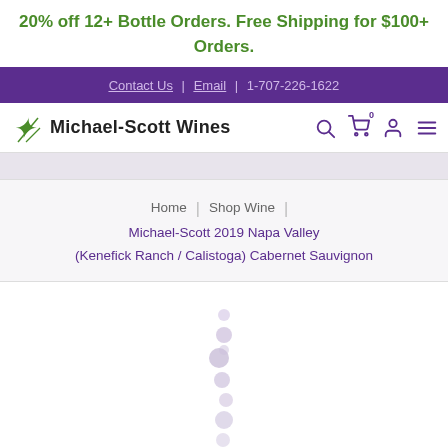20% off 12+ Bottle Orders. Free Shipping for $100+ Orders.
Contact Us | Email | 1-707-226-1622
[Figure (logo): Michael-Scott Wines logo with decorative vine icon, search icon, cart icon showing 0, user icon, and hamburger menu icon]
Home | Shop Wine | Michael-Scott 2019 Napa Valley (Kenefick Ranch / Calistoga) Cabernet Sauvignon